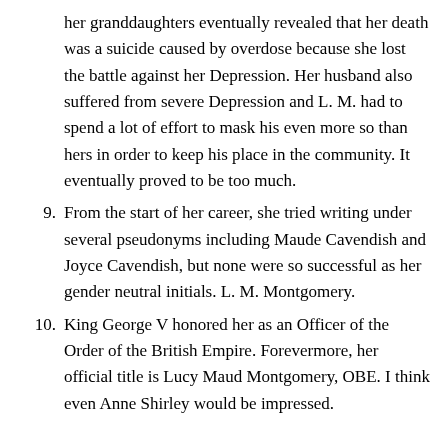her granddaughters eventually revealed that her death was a suicide caused by overdose because she lost the battle against her Depression. Her husband also suffered from severe Depression and L. M. had to spend a lot of effort to mask his even more so than hers in order to keep his place in the community. It eventually proved to be too much.
9. From the start of her career, she tried writing under several pseudonyms including Maude Cavendish and Joyce Cavendish, but none were so successful as her gender neutral initials. L. M. Montgomery.
10. King George V honored her as an Officer of the Order of the British Empire. Forevermore, her official title is Lucy Maud Montgomery, OBE. I think even Anne Shirley would be impressed.